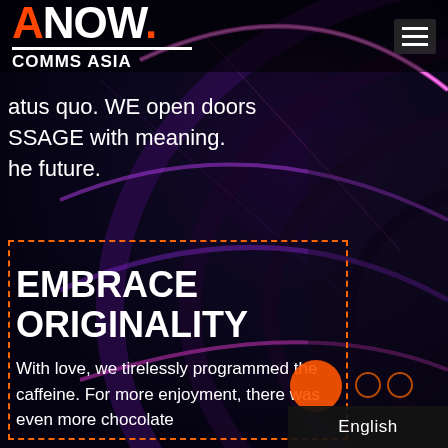[Figure (screenshot): Dark futuristic tunnel/corridor with neon pink/purple arc lights, dark blue-purple background, person in suit on right side]
ANOW. COMMS ASIA
atus quo. WE open doors
SSAGE with meaning.
he future.
EMBRACE ORIGINALITY
With love, we tirelessly programmed the caffeine. For more enjoyment, there was even more chocolate
English